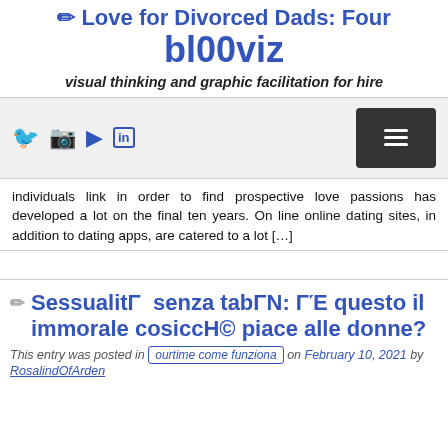Love for Divorced Dads: Four
bl00viz
visual thinking and graphic facilitation for hire
[Figure (screenshot): Navigation bar with social media icons (Twitter, Instagram, YouTube, LinkedIn) on the left and a dark hamburger menu button on the right, on a light gray background.]
individuals link in order to find prospective love passions has developed a lot on the final ten years. On line online dating sites, in addition to dating apps, are catered to a lot [...]
SessualitΓ senza tabΓΝ: ΓΈ questo il immorale cosiccΗ© piace alle donne?
This entry was posted in ourtime come funziona on February 10, 2021 by RosalindOfArden